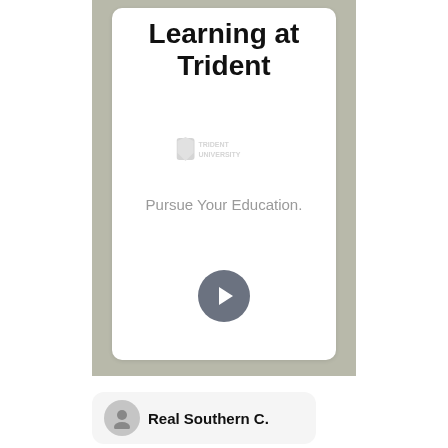Learning at Trident
[Figure (logo): Trident University shield logo with text]
Pursue Your Education.
[Figure (other): Gray circular button with right-pointing chevron arrow]
Real Southern C.